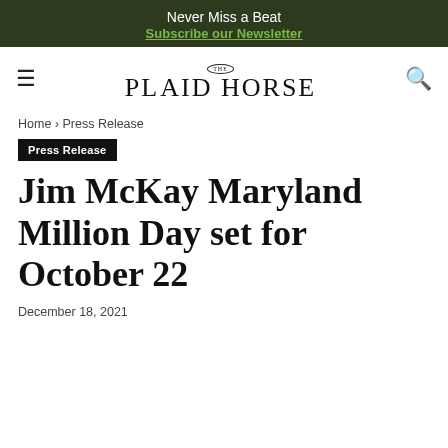Never Miss a Beat
Subscribe our Newsletter
[Figure (logo): The Plaid Horse logo with circular THE badge above PLAID HORSE text]
Home › Press Release
Press Release
Jim McKay Maryland Million Day set for October 22
December 18, 2021